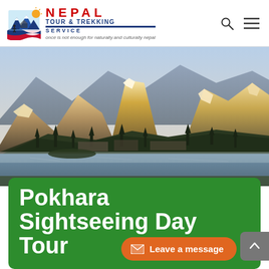[Figure (logo): Nepal Tour & Trekking Service logo with mountain and trekkers icon, red NEPAL text, blue TOUR & TREKKING text]
once is not enough for naturally and culturally nepal
[Figure (photo): Panoramic photograph of Pokhara with Annapurna mountain range in background, lake in foreground, golden sunrise on snow-capped peaks, trees and town in midground]
Pokhara Sightseeing Day Tour
Leave a message